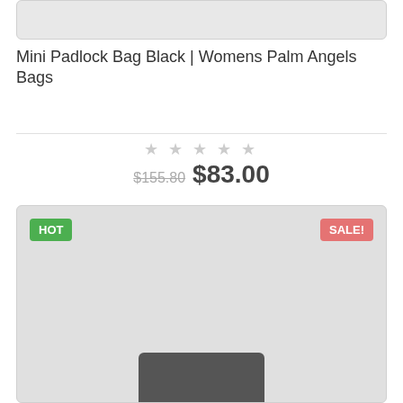[Figure (screenshot): Top portion of a product image card with grey background and rounded border]
Mini Padlock Bag Black | Womens Palm Angels Bags
★★★★★ (star rating, 5 empty stars)
$155.80  $83.00
[Figure (photo): Product card with HOT badge (green, top-left) and SALE! badge (red, top-right), grey background showing partial image of a black bag at the bottom]